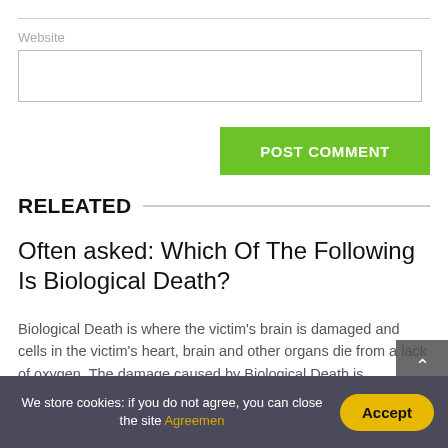Website
POST COMMENT
RELEATED
Often asked: Which Of The Following Is Biological Death?
Biological Death is where the victim's brain is damaged and cells in the victim's heart, brain and other organs die from a lack of oxygen. The damage caused by Biological Death is irreversible. Between 4-6 minutes Biological Death will set
We store cookies: if you do not agree, you can close the site Agreemen
Accept